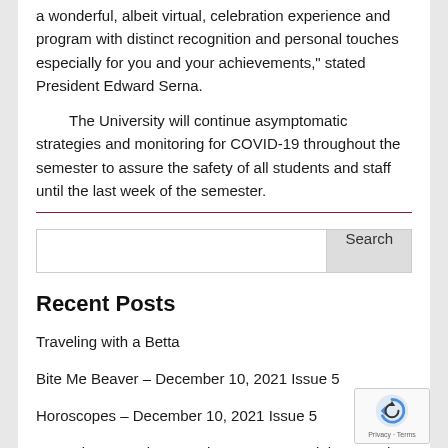a wonderful, albeit virtual, celebration experience and program with distinct recognition and personal touches especially for you and your achievements," stated President Edward Serna.
The University will continue asymptomatic strategies and monitoring for COVID-19 throughout the semester to assure the safety of all students and staff until the last week of the semester.
[Figure (other): Search input box with Search button]
Recent Posts
Traveling with a Betta
Bite Me Beaver – December 10, 2021 Issue 5
Horoscopes – December 10, 2021 Issue 5
UMF Fitness and Recreation Center to Celebrate 30th
[Figure (other): reCAPTCHA privacy badge with rotating arrow icon and Privacy - Terms text]